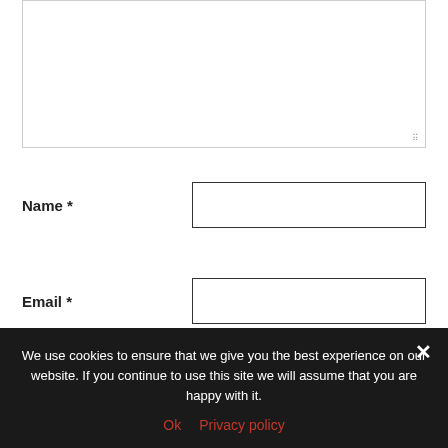[Figure (screenshot): Empty textarea input box with resize handle in bottom-right corner]
Name *
[Figure (screenshot): Text input field for Name]
Email *
[Figure (screenshot): Text input field for Email]
[Figure (screenshot): Partial text input field for Website]
We use cookies to ensure that we give you the best experience on our website. If you continue to use this site we will assume that you are happy with it.
Ok   Privacy policy